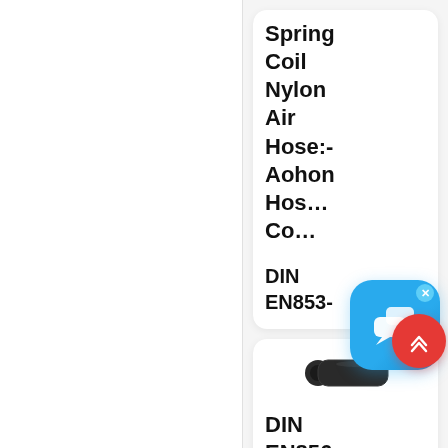Spring Coil Nylon Air Hose:- Aohon Hos… Co…
DIN EN853-
[Figure (photo): A black rubber hydraulic hose section shown at an angle]
DIN EN856 4S…
[Figure (other): Chat support overlay button with speech bubble icon and blue rounded rectangle background, with X close button]
[Figure (other): Red circular scroll-to-top button with upward chevrons]